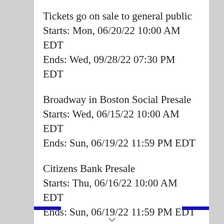Tickets go on sale to general public
Starts: Mon, 06/20/22 10:00 AM EDT
Ends: Wed, 09/28/22 07:30 PM EDT
Broadway in Boston Social Presale
Starts: Wed, 06/15/22 10:00 AM EDT
Ends: Sun, 06/19/22 11:59 PM EDT
Citizens Bank Presale
Starts: Thu, 06/16/22 10:00 AM EDT
Ends: Sun, 06/19/22 11:59 PM EDT
Ticketmaster CEN Presale
Starts: Thu, 06/16/22 10:00 AM EDT
Ends: Sun, 06/19/22 11:59 PM EDT
You can use the following free presale passwords and information to get tickets: